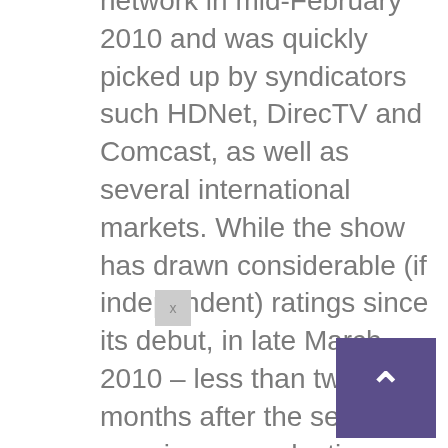network in mid-February 2010 and was quickly picked up by syndicators such HDNet, DirecTV and Comcast, as well as several international markets. While the show has drawn considerable (if independent) ratings since its debut, in late March 2010 – less than two months after the series premiere – production company Liquidassets.tv announced it had chosen a new host for Season 2, which had yet to begin filming. Inconsistencies surrounding the reasons given for Faulls's departure remain, but neither party have commented publicly beyond their respective initial press statements.

In 2013, Faulls began working with singer/composer Serj Tankian, returning underwater filmmaking for the first time in 2 years to shoot footage that would serve as